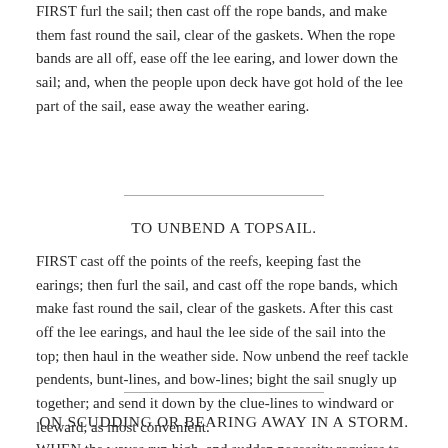FIRST furl the sail; then cast off the rope bands, and make them fast round the sail, clear of the gaskets. When the rope bands are all off, ease off the lee earing, and lower down the sail; and, when the people upon deck have got hold of the lee part of the sail, ease away the weather earing.
TO UNBEND A TOPSAIL.
FIRST cast off the points of the reefs, keeping fast the earings; then furl the sail, and cast off the rope bands, which make fast round the sail, clear of the gaskets. After this cast off the lee earings, and haul the lee side of the sail into the top; then haul in the weather side. Now unbend the reef tackle pendents, bunt-lines, and bow-lines; bight the sail snugly up together; and send it down by the clue-lines to windward or leeward, as most convenient.
ON SCUDDING OR BEARING AWAY IN A STORM.
WHEN the waves run high, and sudden necessity requires to bear